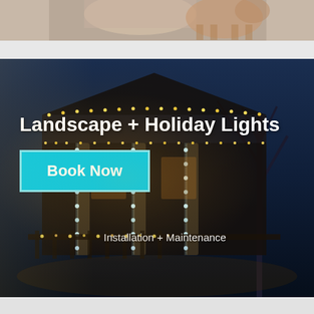[Figure (photo): Partial photo at top showing a person's arm and a dog, cropped view against a light background]
[Figure (photo): Night photo of a house decorated with holiday/Christmas lights along the roofline, porch columns, and fence, with bare trees visible against a deep blue night sky]
Landscape + Holiday Lights
Book Now
Installation + Maintenance